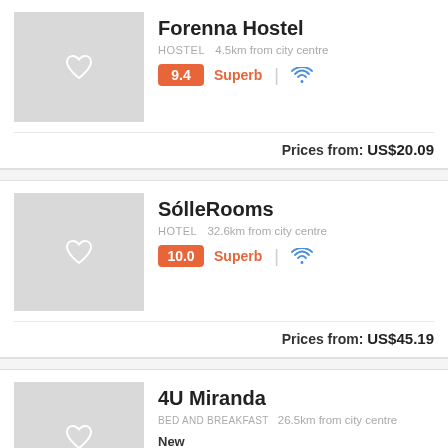Forenna Hostel
HOSTEL   4.5km from city centre
9.4 Superb
Prices from:  US$20.09
SólleRooms
HOTEL   32.6km from city centre
10.0 Superb
Prices from:  US$45.19
4U Miranda
BED AND BREAKFAST   26.5km from city centre
New
Prices from:  US$50.22